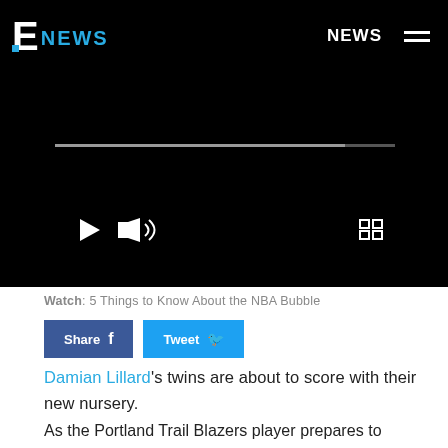E! NEWS | NEWS
[Figure (screenshot): Video player with scrubber bar, play button, volume icon, and fullscreen controls on a black background]
Watch: 5 Things to Know About the NBA Bubble
Share | Tweet
Damian Lillard's twins are about to score with their new nursery.
As the Portland Trail Blazers player prepares to welcome two babies with his fiancée Kay'La Hanson in the coming weeks, there's one big thing to do. If you didn't already guess, it's time to get the babies'